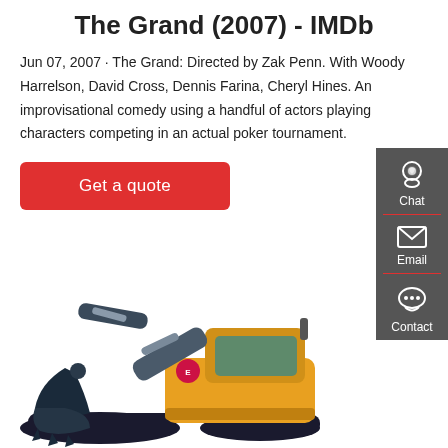The Grand (2007) - IMDb
Jun 07, 2007 · The Grand: Directed by Zak Penn. With Woody Harrelson, David Cross, Dennis Farina, Cheryl Hines. An improvisational comedy using a handful of actors playing characters competing in an actual poker tournament.
[Figure (screenshot): Red 'Get a quote' button]
[Figure (photo): Yellow mini excavator/construction machine on white background]
[Figure (infographic): Dark grey sidebar with Chat, Email, and Contact icons and labels]